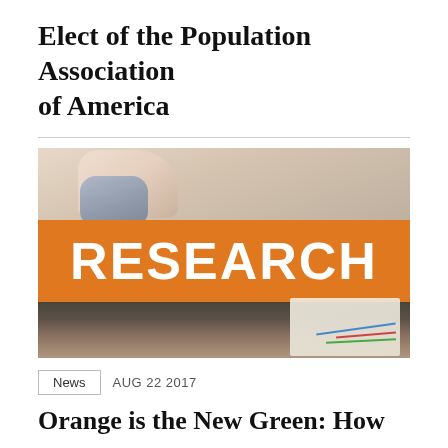Elect of the Population Association of America
[Figure (photo): A research-themed banner image showing a hand on a computer mouse in the background with a large orange banner reading RESEARCH in white bold text, and charts/papers visible in the lower right corner.]
News  AUG 22 2017
Orange is the New Green: How